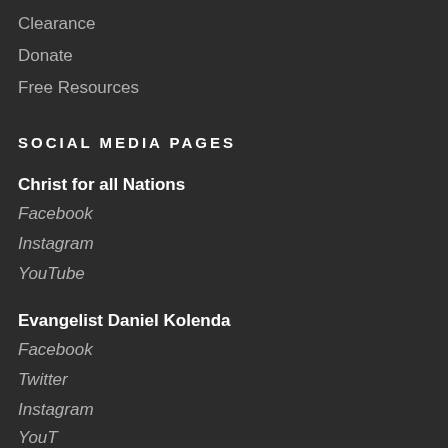Clearance
Donate
Free Resources
SOCIAL MEDIA PAGES
Christ for all Nations
Facebook
Instagram
YouTube
Evangelist Daniel Kolenda
Facebook
Twitter
Instagram
YouTube